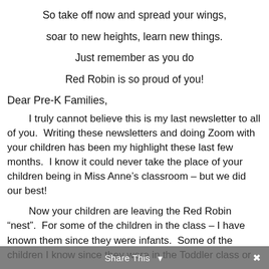So take off now and spread your wings,
soar to new heights, learn new things.
Just remember as you do
Red Robin is so proud of you!
Dear Pre-K Families,
I truly cannot believe this is my last newsletter to all of you.  Writing these newsletters and doing Zoom with your children has been my highlight these last few months.  I know it could never take the place of your children being in Miss Anne’s classroom – but we did our best!
Now your children are leaving the Red Robin “nest”.  For some of the children in the class – I have known them since they were infants.  Some of the children I know since they were in the Toddler class or
Share This